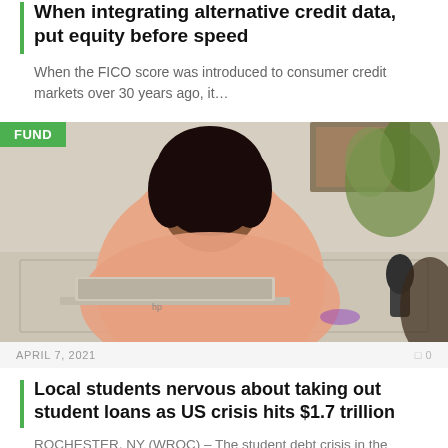When integrating alternative credit data, put equity before speed
When the FICO score was introduced to consumer credit markets over 30 years ago, it…
[Figure (photo): Woman in a pink sweater working on an HP laptop at a desk, with a plant and framed artwork in the background. A green 'FUND' badge overlays the top-left corner of the image.]
APRIL 7, 2021   0
Local students nervous about taking out student loans as US crisis hits $1.7 trillion
ROCHESTER, NY (WROC) – The student debt crisis in the United